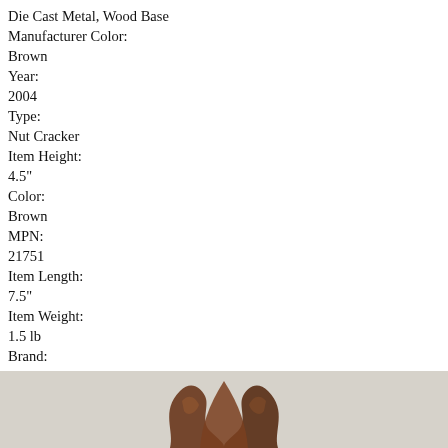Die Cast Metal, Wood Base
Manufacturer Color:
Brown
Year:
2004
Type:
Nut Cracker
Item Height:
4.5"
Color:
Brown
MPN:
21751
Item Length:
7.5"
Item Weight:
1.5 lb
Brand:
Houston Harvest
UPC:
N/A
[Figure (photo): Bottom portion of a brown die-cast metal nut cracker with a wood base, photographed on a light grey background.]